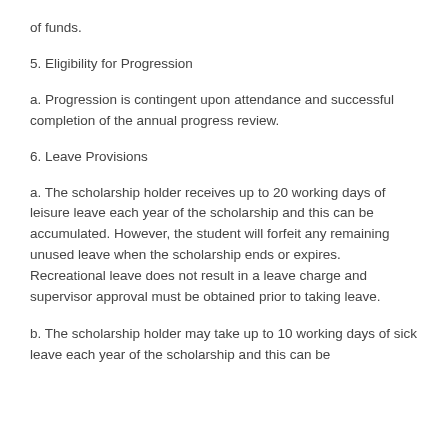of funds.
5. Eligibility for Progression
a. Progression is contingent upon attendance and successful completion of the annual progress review.
6. Leave Provisions
a. The scholarship holder receives up to 20 working days of leisure leave each year of the scholarship and this can be accumulated. However, the student will forfeit any remaining unused leave when the scholarship ends or expires. Recreational leave does not result in a leave charge and supervisor approval must be obtained prior to taking leave.
b. The scholarship holder may take up to 10 working days of sick leave each year of the scholarship and this can be